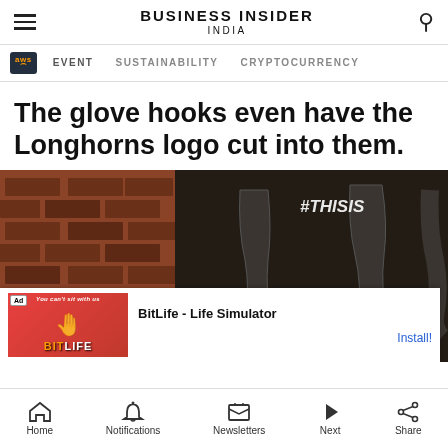BUSINESS INSIDER INDIA
EVENT   SUSTAINABILITY   CRYPTOCURRENCY
The glove hooks even have the Longhorns logo cut into them.
[Figure (photo): Close-up photo of dark metal glove hooks mounted on a brick or textured wall, with a #THISIS overlay text visible in the upper right corner. An advertisement banner for BitLife - Life Simulator appears at the bottom of the image.]
Home   Notifications   Newsletters   Next   Share